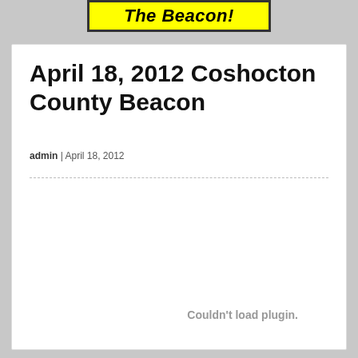The Beacon!
April 18, 2012 Coshocton County Beacon
admin | April 18, 2012
Couldn't load plugin.